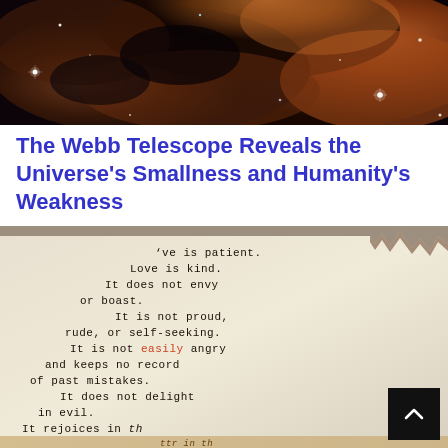[Figure (photo): NASA James Webb Space Telescope image of a nebula with golden-orange cosmic clouds and bright stars against dark space background]
The Webb Telescope Reveals the Universe's Smallness and Humanity's Weakness
[Figure (photo): Photo of a torn aged paper with typewriter-style text of 1 Corinthians 13 love verse: 've is patient. Love is kind. It does not envy or boast. It is not proud, rude, or self-seeking. It is not easily angry and keeps no record of past mistakes. It does not delight in evil. It rejoices in th...' — with the word 'easily' highlighted in red/orange]